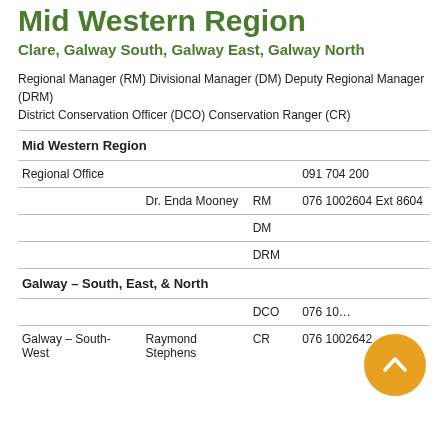Mid Western Region
Clare, Galway South, Galway East, Galway North
Regional Manager (RM) Divisional Manager (DM) Deputy Regional Manager (DRM)
District Conservation Officer (DCO) Conservation Ranger (CR)
|  |  |  |  |
| --- | --- | --- | --- |
| Mid Western Region |  |  |  |
| Regional Office |  |  | 091 704 200 |
|  | Dr. Enda Mooney | RM | 076 1002604 Ext 8604 |
|  |  | DM |  |
|  |  | DRM |  |
| Galway – South, East, & North |  |  |  |
|  |  | DCO | 076 10… |
| Galway – South-West | Raymond Stephens | CR | 076 1002642 |